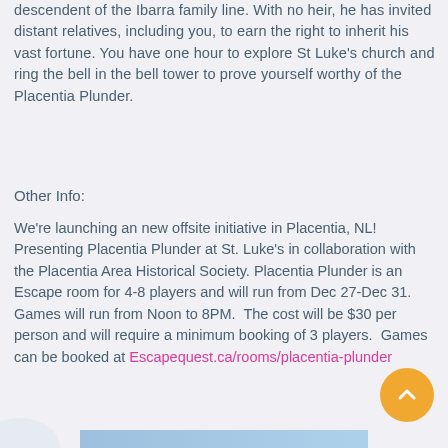descendent of the Ibarra family line. With no heir, he has invited distant relatives, including you, to earn the right to inherit his vast fortune. You have one hour to explore St Luke's church and ring the bell in the bell tower to prove yourself worthy of the Placentia Plunder.
Other Info:
We're launching an new offsite initiative in Placentia, NL!  Presenting Placentia Plunder at St. Luke's in collaboration with the Placentia Area Historical Society. Placentia Plunder is an Escape room for 4-8 players and will run from Dec 27-Dec 31.  Games will run from Noon to 8PM.  The cost will be $30 per person and will require a minimum booking of 3 players.  Games can be booked at Escapequest.ca/rooms/placentia-plunder